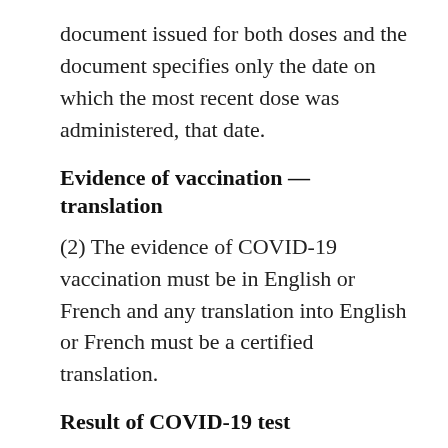document issued for both doses and the document specifies only the date on which the most recent dose was administered, that date.
Evidence of vaccination — translation
(2) The evidence of COVID-19 vaccination must be in English or French and any translation into English or French must be a certified translation.
Result of COVID-19 test
17.11 (1) A result for a COVID-19 molecular test or a COVID-19 antigen test is a result